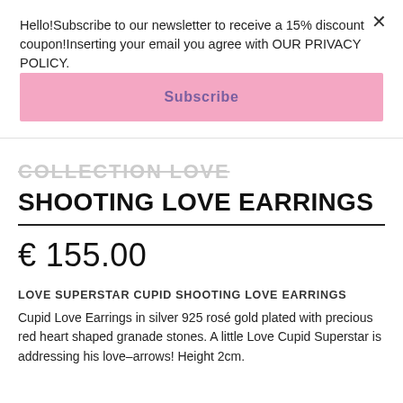Hello!Subscribe to our newsletter to receive a 15% discount coupon!Inserting your email you agree with OUR PRIVACY POLICY.
Subscribe
SHOOTING LOVE EARRINGS
€ 155.00
LOVE SUPERSTAR CUPID SHOOTING LOVE EARRINGS
Cupid Love Earrings in silver 925 rosé gold plated with precious red heart shaped granade stones. A little Love Cupid Superstar is addressing his love–arrows! Height 2cm.